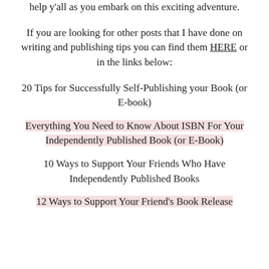help y'all as you embark on this exciting adventure.
If you are looking for other posts that I have done on writing and publishing tips you can find them HERE or in the links below:
20 Tips for Successfully Self-Publishing your Book (or E-book)
Everything You Need to Know About ISBN For Your Independently Published Book (or E-Book)
10 Ways to Support Your Friends Who Have Independently Published Books
12 Ways to Support Your Friend's Book Release